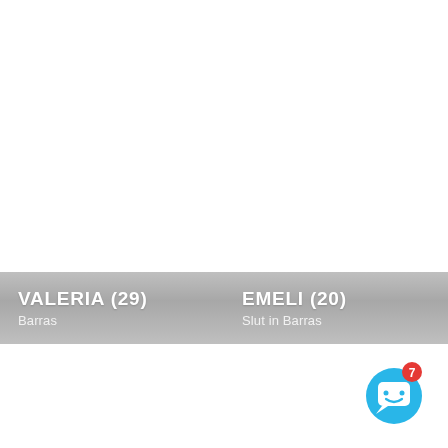VALERIA (29)
Barras
EMELI (20)
Slut in Barras
[Figure (illustration): Blue circular chat button with white speech bubble icon and red notification badge showing number 7]